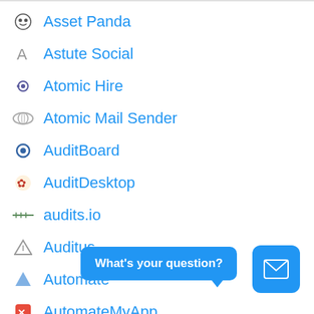Asset Panda
Astute Social
Atomic Hire
Atomic Mail Sender
AuditBoard
AuditDesktop
audits.io
Auditus
Automate
AutomateMyApp
Automizy
Autopilot
What's your question?